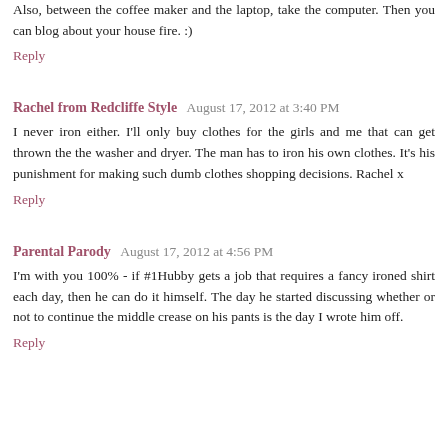Also, between the coffee maker and the laptop, take the computer. Then you can blog about your house fire. :)
Reply
Rachel from Redcliffe Style  August 17, 2012 at 3:40 PM
I never iron either. I'll only buy clothes for the girls and me that can get thrown the the washer and dryer. The man has to iron his own clothes. It's his punishment for making such dumb clothes shopping decisions. Rachel x
Reply
Parental Parody  August 17, 2012 at 4:56 PM
I'm with you 100% - if #1Hubby gets a job that requires a fancy ironed shirt each day, then he can do it himself. The day he started discussing whether or not to continue the middle crease on his pants is the day I wrote him off.
Reply